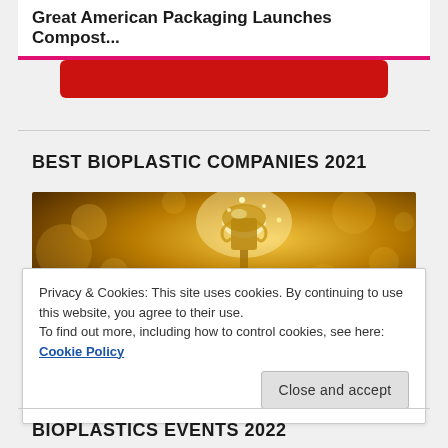Great American Packaging Launches Compost...
[Figure (other): Red rounded rectangle banner/button element]
BEST BIOPLASTIC COMPANIES 2021
[Figure (photo): Award trophy with golden bokeh background — glittering golden award statue held up against warm amber light with bokeh circles]
Privacy & Cookies: This site uses cookies. By continuing to use this website, you agree to their use.
To find out more, including how to control cookies, see here: Cookie Policy
Close and accept
BIOPLASTICS EVENTS 2022